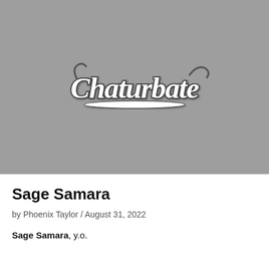[Figure (logo): Chaturbate logo on a gray background]
Sage Samara
by Phoenix Taylor / August 31, 2022
Sage Samara, y.o.